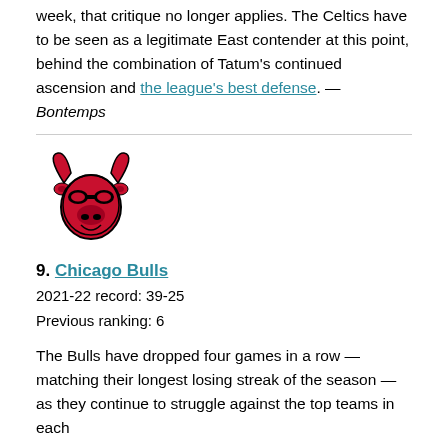week, that critique no longer applies. The Celtics have to be seen as a legitimate East contender at this point, behind the combination of Tatum's continued ascension and the league's best defense. — Bontemps
[Figure (logo): Chicago Bulls NBA team logo — red bull head with horns on white background]
9. Chicago Bulls
2021-22 record: 39-25
Previous ranking: 6
The Bulls have dropped four games in a row — matching their longest losing streak of the season — as they continue to struggle against the top teams in each